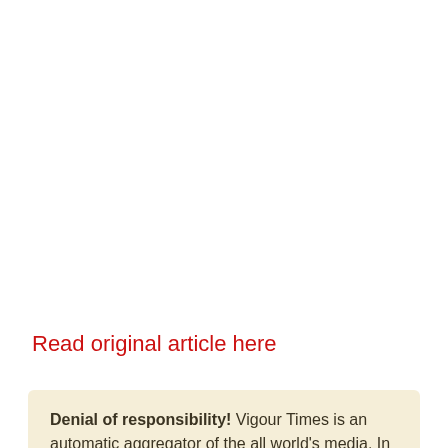Read original article here
Denial of responsibility! Vigour Times is an automatic aggregator of the all world's media. In